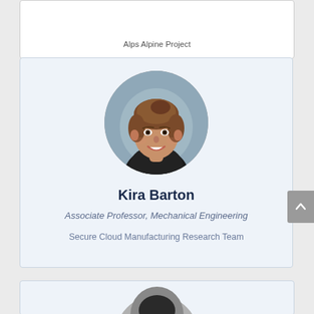Alps Alpine Project
[Figure (photo): Circular portrait photo of Kira Barton, a woman smiling, with brown hair pulled back, wearing a dark top]
Kira Barton
Associate Professor, Mechanical Engineering
Secure Cloud Manufacturing Research Team
[Figure (photo): Partial circular portrait photo of another person, only top of head visible at bottom of page]